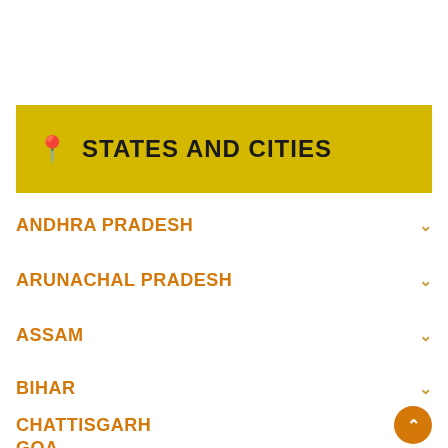STATES AND CITIES
ANDHRA PRADESH
ARUNACHAL PRADESH
ASSAM
BIHAR
CHATTISGARH
GOA